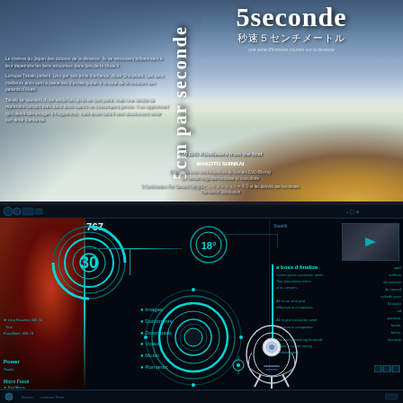[Figure (illustration): Anime movie cover art for '5cm par seconde' (5 Centimeters Per Second / 秒速5センチメートル). Shows a wintry scene with a lone figure standing in snow, Japanese title text, vertical French title text '5cm par seconde', synopsis text in French on the left side, and additional credits at the bottom.]
[Figure (screenshot): Screenshot of a futuristic Iron Man themed desktop UI/skin with teal HUD circles, Iron Man face on the left, a robot figure on the right, menu items (Images, Documents, Downloads, Videos, Music, Romantic), and various UI panels. Resolution label '900x563 px / #10767' shown at top left.]